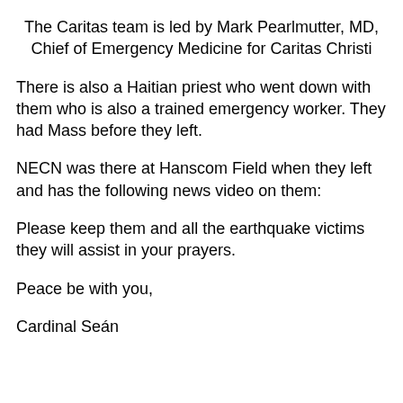The Caritas team is led by Mark Pearlmutter, MD, Chief of Emergency Medicine for Caritas Christi
There is also a Haitian priest who went down with them who is also a trained emergency worker. They had Mass before they left.
NECN was there at Hanscom Field when they left and has the following news video on them:
Please keep them and all the earthquake victims they will assist in your prayers.
Peace be with you,
Cardinal Seán